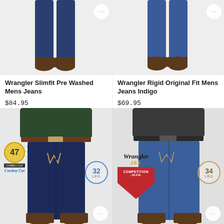[Figure (photo): Back view of Wrangler Slimfit Pre Washed Mens Jeans, showing lower legs and boots on white background]
[Figure (photo): Back view of Wrangler Rigid Original Fit Mens Jeans Indigo, showing lower legs and boots on white background]
Wrangler Slimfit Pre Washed Mens Jeans
$84.95
Wrangler Rigid Original Fit Mens Jeans Indigo
$69.95
[Figure (photo): Back view of man wearing dark navy Wrangler Cowboy Cut jeans with green shirt, showing 47 Cowboy Cut badge and 32 LEG badge]
[Figure (photo): Back view of man wearing medium wash Wrangler 20X Competition Jean jeans with dark shirt, showing Wrangler 20X Competition Jean badge and 34 LEG badge]